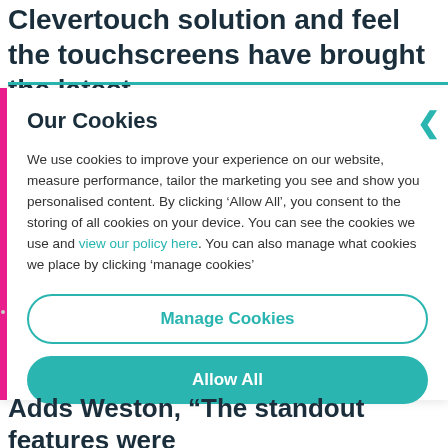Clevertouch solution and feel the touchscreens have brought the latest
Our Cookies
We use cookies to improve your experience on our website, measure performance, tailor the marketing you see and show you personalised content. By clicking ‘Allow All’, you consent to the storing of all cookies on your device. You can see the cookies we use and view our policy here. You can also manage what cookies we place by clicking ‘manage cookies’
Manage Cookies
Allow All
Adds Weston, “The standout features were